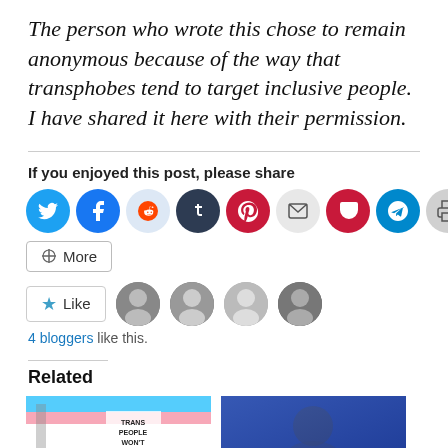The person who wrote this chose to remain anonymous because of the way that transphobes tend to target inclusive people. I have shared it here with their permission.
If you enjoyed this post, please share
[Figure (infographic): Row of social media share icon buttons: Twitter, Facebook, Reddit, Tumblr, Pinterest, Email, Pocket, Telegram, Print]
More
[Figure (infographic): Like button with star icon, followed by four blogger avatar thumbnails]
4 bloggers like this.
Related
[Figure (photo): Left: photo of trans pride flag with a sign reading TRANS PEOPLE WON'T. Right: black and white atmospheric photo of a person.]